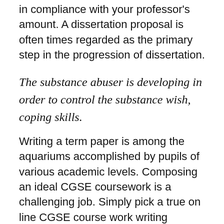in compliance with your professor's amount. A dissertation proposal is often times regarded as the primary step in the progression of dissertation.
The substance abuser is developing in order to control the substance wish, coping skills.
Writing a term paper is among the aquariums accomplished by pupils of various academic levels. Composing an ideal CGSE coursework is a challenging job. Simply pick a true on line CGSE course work writing service buy essays fast and obtain an perfect CGSE coursework composed by expert authors which allow you to attain excellent